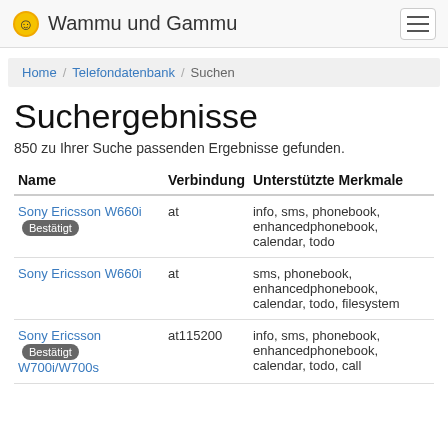Wammu und Gammu
Home / Telefondatenbank / Suchen
Suchergebnisse
850 zu Ihrer Suche passenden Ergebnisse gefunden.
| Name | Verbindung | Unterstützte Merkmale |
| --- | --- | --- |
| Sony Ericsson W660i [Bestätigt] | at | info, sms, phonebook, enhancedphonebook, calendar, todo |
| Sony Ericsson W660i | at | sms, phonebook, enhancedphonebook, calendar, todo, filesystem |
| Sony Ericsson W700i/W700s [Bestätigt] | at115200 | info, sms, phonebook, enhancedphonebook, calendar, todo, call |